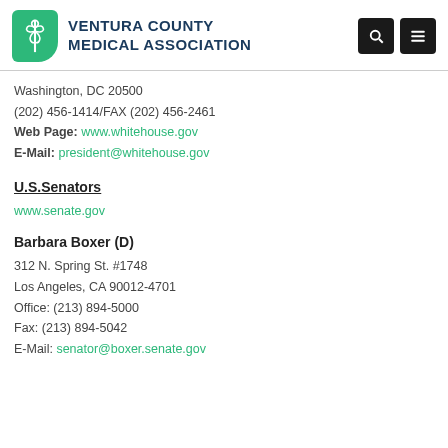[Figure (logo): Ventura County Medical Association logo with green icon and dark blue text]
Washington, DC 20500
(202) 456-1414/FAX (202) 456-2461
Web Page: www.whitehouse.gov
E-Mail: president@whitehouse.gov
U.S.Senators
www.senate.gov
Barbara Boxer (D)
312 N. Spring St. #1748
Los Angeles, CA 90012-4701
Office: (213) 894-5000
Fax: (213) 894-5042
E-Mail: senator@boxer.senate.gov